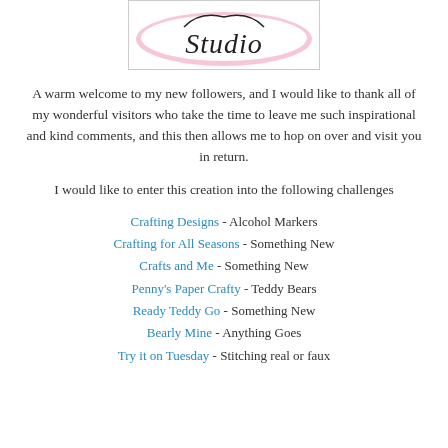[Figure (logo): Studio logo with pink scalloped border and cursive text]
A warm welcome to my new followers, and I would like to thank all of my wonderful visitors who take the time to leave me such inspirational and kind comments, and this then allows me to hop on over and visit you in return.
I would like to enter this creation into the following challenges
Crafting Designs - Alcohol Markers
Crafting for All Seasons - Something New
Crafts and Me - Something New
Penny's Paper Crafty - Teddy Bears
Ready Teddy Go - Something New
Bearly Mine - Anything Goes
Try it on Tuesday - Stitching real or faux